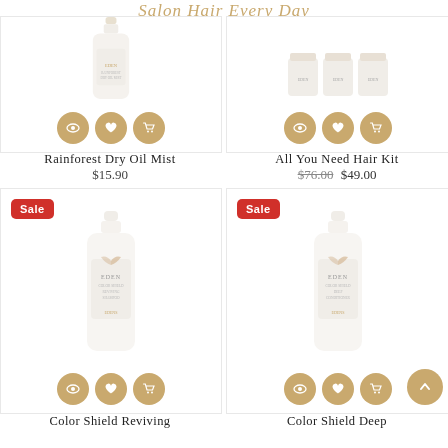Salon Hair Every Day
[Figure (photo): Product card: Rainforest Dry Oil Mist with action buttons (view, wishlist, cart)]
[Figure (photo): Product card: All You Need Hair Kit with action buttons (view, wishlist, cart)]
Rainforest Dry Oil Mist
$15.90
All You Need Hair Kit
$76.00 $49.00
[Figure (photo): Product card: Color Shield Reviving [Shampoo] with Sale badge and action buttons]
[Figure (photo): Product card: Color Shield Deep [Conditioner] with Sale badge and action buttons]
Color Shield Reviving
Color Shield Deep